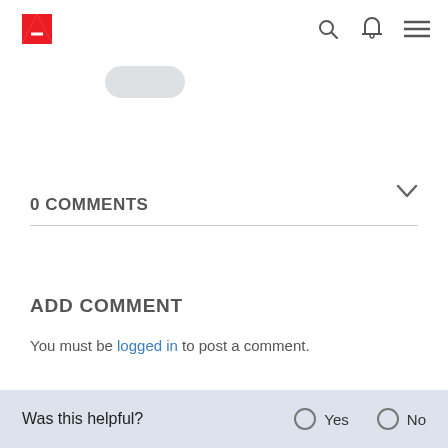Adobe logo navigation bar with search, notification, and menu icons
0 COMMENTS
ADD COMMENT
You must be logged in to post a comment.
Was this helpful? Yes No